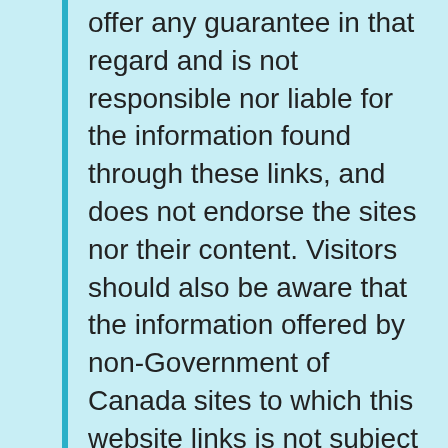offer any guarantee in that regard and is not responsible nor liable for the information found through these links, and does not endorse the sites nor their content. Visitors should also be aware that the information offered by non-Government of Canada sites to which this website links is not subject to the Privacy Act or the Official Languages Act and may not be accessible to persons with disabilities. The